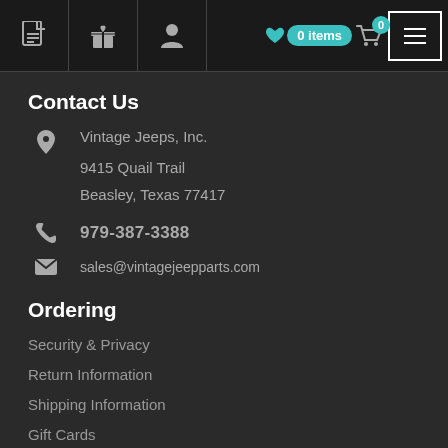Navigation bar with icons: document, gift, person, 0 items wishlist, cart with 0, menu button
Contact Us
Vintage Jeeps, Inc.
9415 Quail Trail
Beasley, Texas 77417
979-387-3388
sales@vintagejeepparts.com
Ordering
Security & Privacy
Return Information
Shipping Information
Gift Cards